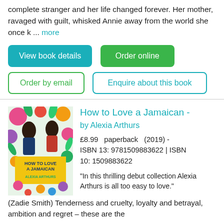complete stranger and her life changed forever. Her mother, ravaged with guilt, whisked Annie away from the world she once k ... more
View book details
Order online
Order by email
Enquire about this book
[Figure (photo): Book cover of 'How to Love a Jamaican' by Alexia Arthurs with colorful tropical illustrated design]
How to Love a Jamaican - by Alexia Arthurs
£8.99   paperback   (2019) - ISBN 13: 9781509883622 | ISBN 10: 1509883622
"In this thrilling debut collection Alexia Arthurs is all too easy to love."(Zadie Smith) Tenderness and cruelty, loyalty and betrayal, ambition and regret – these are the